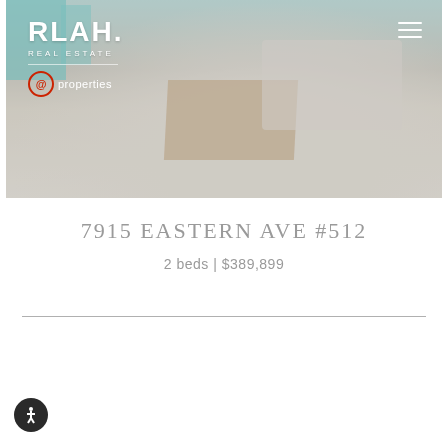[Figure (photo): Interior photo of a living room with teal accent chairs, a wooden coffee table, and light-colored carpet. RLAH Real Estate and @properties logos visible in top left. Hamburger menu icon in top right.]
7915 EASTERN AVE #512
2 beds | $389,899